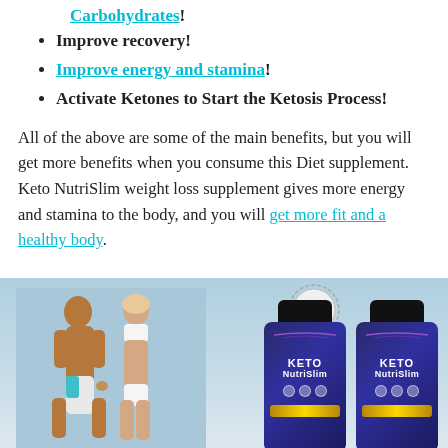Carbohydrates!
Improve recovery!
Improve energy and stamina!
Activate Ketones to Start the Ketosis Process!
All of the above are some of the main benefits, but you will get more benefits when you consume this Diet supplement. Keto NutriSlim weight loss supplement gives more energy and stamina to the body, and you will get more fit and a healthy body.
[Figure (photo): Photo of a fit couple (man and woman in swimwear) running on a beach alongside two bottles of Keto NutriSlim supplement with a Made in USA stamp.]